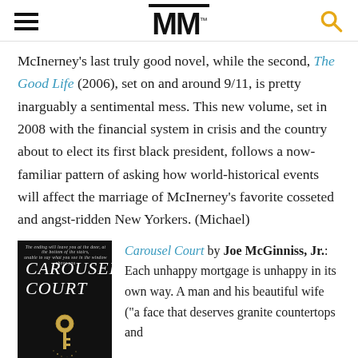MM
McInerney’s last truly good novel, while the second, The Good Life (2006), set on and around 9/11, is pretty inarguably a sentimental mess. This new volume, set in 2008 with the financial system in crisis and the country about to elect its first black president, follows a now-familiar pattern of asking how world-historical events will affect the marriage of McInerney’s favorite cosseted and angst-ridden New Yorkers. (Michael)
[Figure (illustration): Book cover of Carousel Court showing white italic handwritten text on black background with a gold key at the bottom and small white text at the top.]
Carousel Court by Joe McGinniss, Jr.: Each unhappy mortgage is unhappy in its own way. A man and his beautiful wife (“a face that deserves granite countertops and